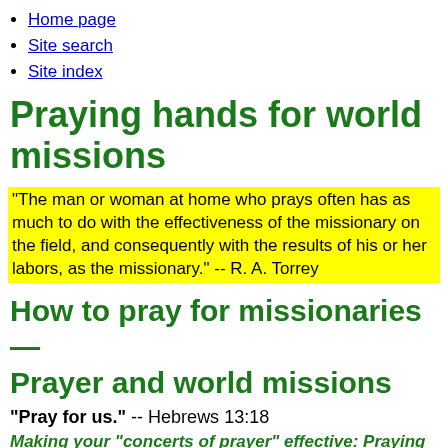Home page
Site search
Site index
Praying hands for world missions
"The man or woman at home who prays often has as much to do with the effectiveness of the missionary on the field, and consequently with the results of his or her labors, as the missionary." -- R. A. Torrey
How to pray for missionaries — Prayer and world missions
"Pray for us." -- Hebrews 13:18
Making your "concerts of prayer" effective: Praying for